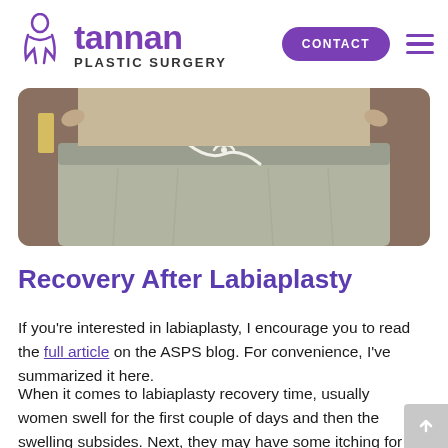tannan PLASTIC SURGERY | CONTACT
[Figure (photo): Close-up photo of a person wearing light grey lounge pants with a drawstring tie, midsection visible]
Recovery After Labiaplasty
If you're interested in labiaplasty, I encourage you to read the full article on the ASPS blog. For convenience, I've summarized it here.
When it comes to labiaplasty recovery time, usually women swell for the first couple of days and then the swelling subsides. Next, they may have some itching for that first week, and during this period my patients